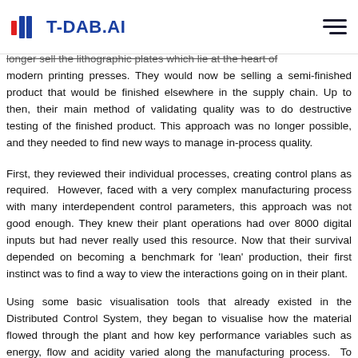T-DAB.AI
longer sell the lithographic plates which lie at the heart of modern printing presses. They would now be selling a semi-finished product that would be finished elsewhere in the supply chain. Up to then, their main method of validating quality was to do destructive testing of the finished product. This approach was no longer possible, and they needed to find new ways to manage in-process quality.
First, they reviewed their individual processes, creating control plans as required.  However, faced with a very complex manufacturing process with many interdependent control parameters, this approach was not good enough. They knew their plant operations had over 8000 digital inputs but had never really used this resource. Now that their survival depended on becoming a benchmark for 'lean' production, their first instinct was to find a way to view the interactions going on in their plant.
Using some basic visualisation tools that already existed in the Distributed Control System, they began to visualise how the material flowed through the plant and how key performance variables such as energy, flow and acidity varied along the manufacturing process.  To their